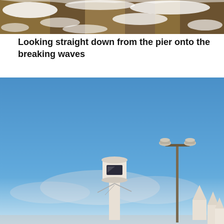[Figure (photo): Close-up photo looking straight down from a pier onto breaking waves with brown rocky textures and white foam]
Looking straight down from the pier onto the breaking waves
[Figure (photo): Photo of a clear blue sky with a white cylindrical observation or control tower structure, a tall lamppost with double lights, and ornate white turret-like structures in the foreground, with faint mountains in the background]